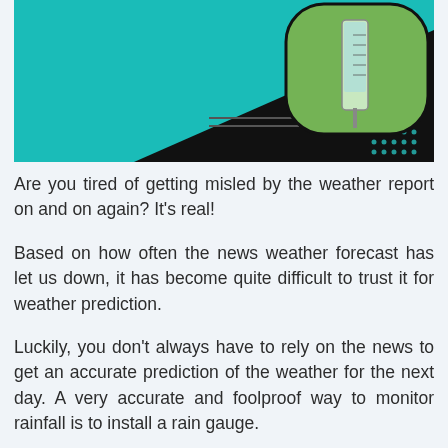[Figure (photo): Decorative header image showing a teal/cyan background with a black diagonal stripe and a circular inset showing a rain gauge in grass, with dotted grid pattern in corner.]
Are you tired of getting misled by the weather report on and on again? It's real!
Based on how often the news weather forecast has let us down, it has become quite difficult to trust it for weather prediction.
Luckily, you don't always have to rely on the news to get an accurate prediction of the weather for the next day. A very accurate and foolproof way to monitor rainfall is to install a rain gauge.